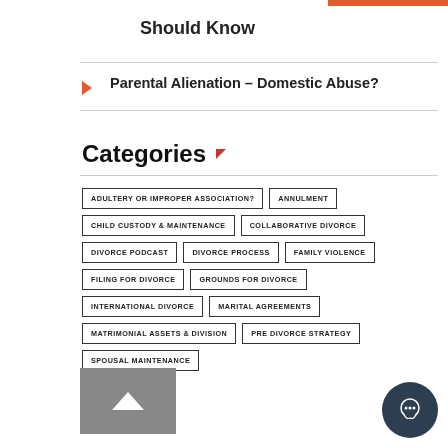Should Know
Parental Alienation – Domestic Abuse?
Categories
ADULTERY OR IMPROPER ASSOCIATION?
ANNULMENT
CHILD CUSTODY & MAINTENANCE
COLLABORATIVE DIVORCE
DIVORCE PODCAST
DIVORCE PROCESS
FAMILY VIOLENCE
FILING FOR DIVORCE
GROUNDS FOR DIVORCE
INTERNATIONAL DIVORCE
MARITAL AGREEMENTS
MATRIMONIAL ASSETS & DIVISION
PRE DIVORCE STRATEGY
SPOUSAL MAINTENANCE